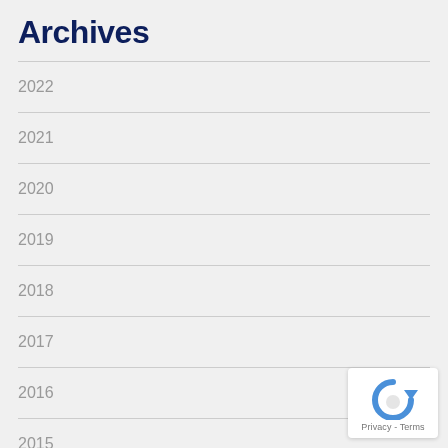Archives
2022
2021
2020
2019
2018
2017
2016
2015